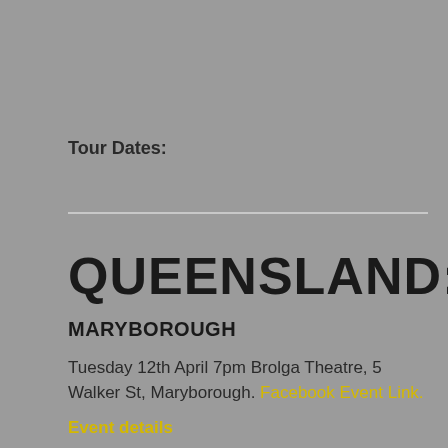Tour Dates:
QUEENSLAND:
MARYBOROUGH
Tuesday 12th April 7pm Brolga Theatre, 5 Walker St, Maryborough. Facebook Event Link.
Event details